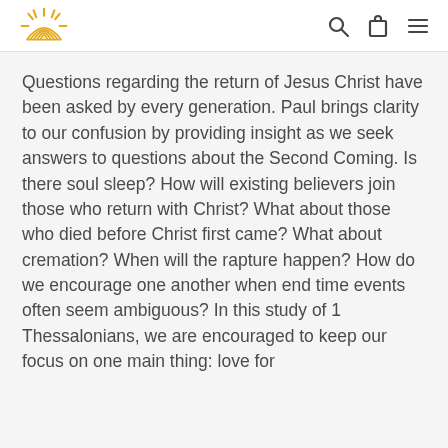[Logo] [Search] [Cart] [Menu]
Questions regarding the return of Jesus Christ have been asked by every generation. Paul brings clarity to our confusion by providing insight as we seek answers to questions about the Second Coming. Is there soul sleep? How will existing believers join those who return with Christ? What about those who died before Christ first came? What about cremation? When will the rapture happen? How do we encourage one another when end time events often seem ambiguous? In this study of 1 Thessalonians, we are encouraged to keep our focus on one main thing: love for